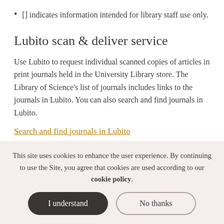[] indicates information intended for library staff use only.
Lubito scan & deliver service
Use Lubito to request individual scanned copies of articles in print journals held in the University Library store. The Library of Science's list of journals includes links to the journals in Lubito. You can also search and find journals in Lubito.
Search and find journals in Lubito
This site uses cookies to enhance the user experience. By continuing to use the Site, you agree that cookies are used according to our cookie policy.